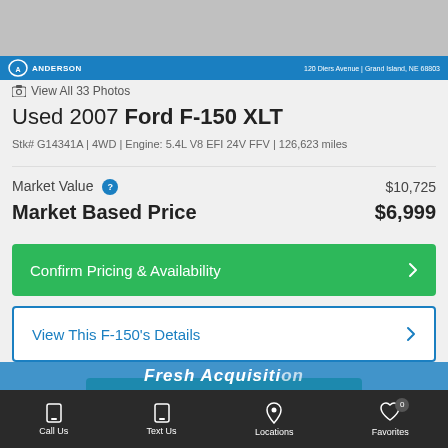[Figure (photo): Car listing image with Anderson dealer blue banner showing address: 120 Diers Avenue | Grand Island, NE 68803]
View All 33 Photos
Used 2007 Ford F-150 XLT
Stk# G14341A | 4WD | Engine: 5.4L V8 EFI 24V FFV | 126,623 miles
| Item | Price |
| --- | --- |
| Market Value | $10,725 |
| Market Based Price | $6,999 |
Confirm Pricing & Availability
View This F-150's Details
CURRENT OFFERS
Call Us  Text Us  Locations  Favorites 0